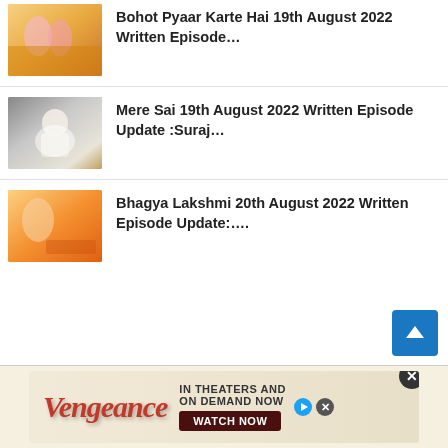Bohot Pyaar Karte Hai 19th August 2022 Written Episode...
Mere Sai 19th August 2022 Written Episode Update :Suraj...
Bhagya Lakshmi 20th August 2022 Written Episode Update:....
[Figure (other): Advertisement banner for Vengeance movie - IN THEATERS AND ON DEMAND NOW - WATCH NOW]